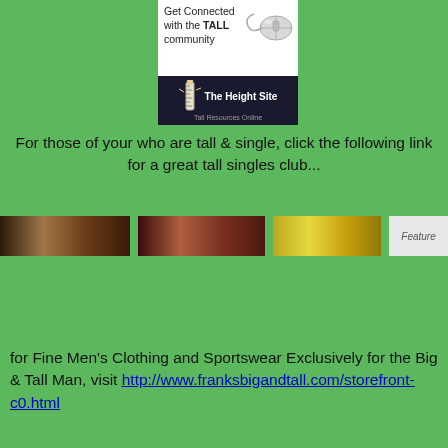[Figure (logo): The Height Site advertisement banner with text 'Get Connected with the TALL community', a computer mouse illustration, and logo 'The Height Site - Tall Resources Online' on dark background]
For those of your who are tall & single, click the following link for a great tall singles club...
[Figure (photo): Strip of three cropped face photos (eyes close-ups) next to a 'Feature' label, part of a tall singles club advertisement]
for Fine Men's Clothing and Sportswear Exclusively for the Big & Tall Man, visit http://www.franksbigandtall.com/storefront-c0.html